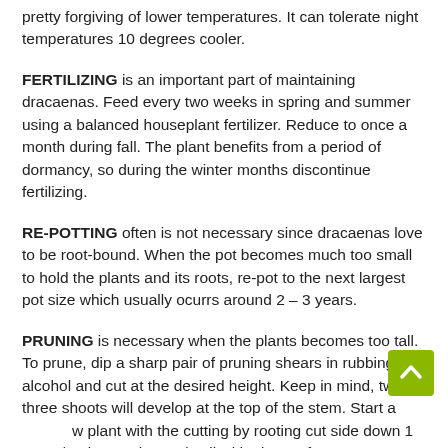pretty forgiving of lower temperatures. It can tolerate night temperatures 10 degrees cooler.
FERTILIZING is an important part of maintaining dracaenas. Feed every two weeks in spring and summer using a balanced houseplant fertilizer. Reduce to once a month during fall. The plant benefits from a period of dormancy, so during the winter months discontinue fertilizing.
RE-POTTING often is not necessary since dracaenas love to be root-bound. When the pot becomes much too small to hold the plants and its roots, re-pot to the next largest pot size which usually ocurrs around 2 – 3 years.
PRUNING is necessary when the plants becomes too tall. To prune, dip a sharp pair of pruning shears in rubbing alcohol and cut at the desired height. Keep in mind, two to three shoots will develop at the top of the stem. Start a new plant with the cutting by rooting cut side down 1 to 1 1/2 " into moistened soil with plenty of oxygen movement such